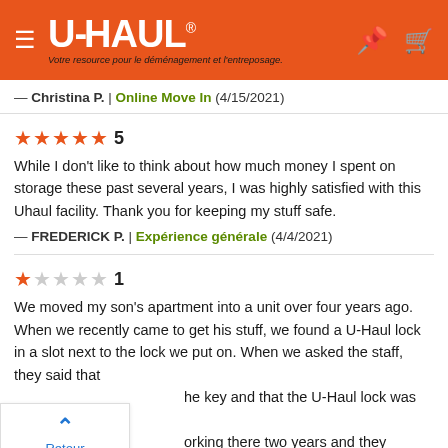U-HAUL — Votre resource pour le déménagement et l'entreposage.
— Christina P. | Online Move In (4/15/2021)
5 stars — While I don't like to think about how much money I spent on storage these past several years, I was highly satisfied with this Uhaul facility. Thank you for keeping my stuff safe. — FREDERICK P. | Expérience générale (4/4/2021)
1 star — We moved my son's apartment into a unit over four years ago. When we recently came to get his stuff, we found a U-Haul lock in a slot next to the lock we put on. When we asked the staff, they said that he key and that the U-Haul lock was required. He orking there two years and they always require old him that we were not required to get that type of lock when we moved in, he said it was required back then also.
Retour Haut de la page